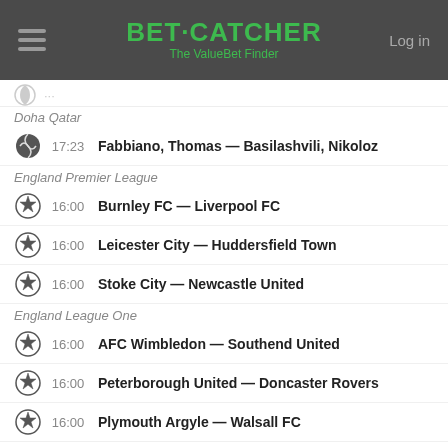BET·CATCHER The ValueBet Finder
Doha Qatar
17:23  Fabbiano, Thomas — Basilashvili, Nikoloz
England Premier League
16:00  Burnley FC — Liverpool FC
16:00  Leicester City — Huddersfield Town
16:00  Stoke City — Newcastle United
England League One
16:00  AFC Wimbledon — Southend United
16:00  Peterborough United — Doncaster Rovers
16:00  Plymouth Argyle — Walsall FC
16:00  Rotherham United — Blackburn Rovers
16:00  Oxford United — Milton Keynes Dons